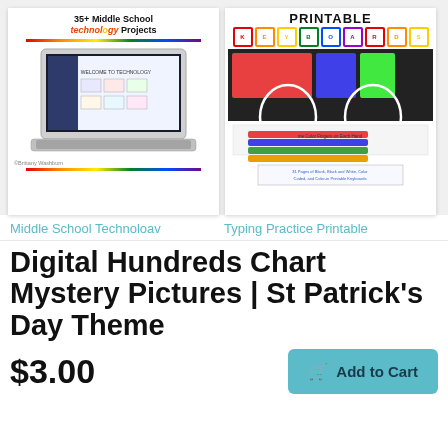[Figure (screenshot): Left product thumbnail: '35+ Middle School Technology Projects' with laptop showing 'Welcome to Technology' screen and rainbow bar below.]
[Figure (screenshot): Right product thumbnail: 'PRINTABLE KEYBOARDS' with colorful keyboard letter blocks, hands, colored pencils, and printable keyboard pages.]
Middle School Technoloav
Typing Practice Printable
Digital Hundreds Chart Mystery Pictures | St Patrick's Day Theme
$3.00
Add to Cart